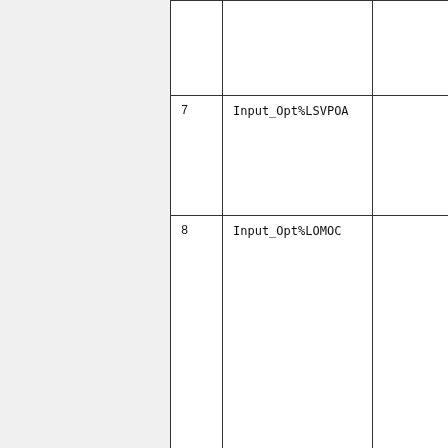| # | Name | ... |
| --- | --- | --- |
|  |  |  |
| 7 | Input_Opt%LSVPOA |  |
| 8 | Input_Opt%LOMOC |  |
| 9 | Input_Opt%LDUST |  |